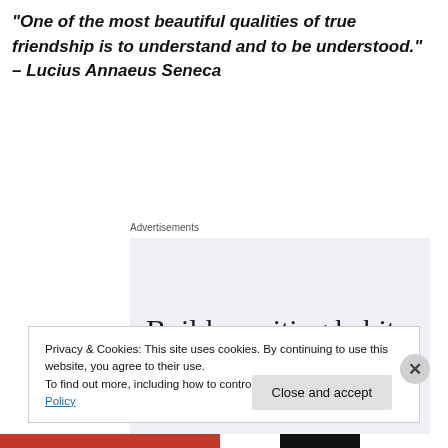“One of the most beautiful qualities of true friendship is to understand and to be understood.” – Lucius Annaeus Seneca
Advertisements
[Figure (other): Advertisement banner with text: Build a writing habit. Post on the go.]
Privacy & Cookies: This site uses cookies. By continuing to use this website, you agree to their use.
To find out more, including how to control cookies, see here: Cookie Policy